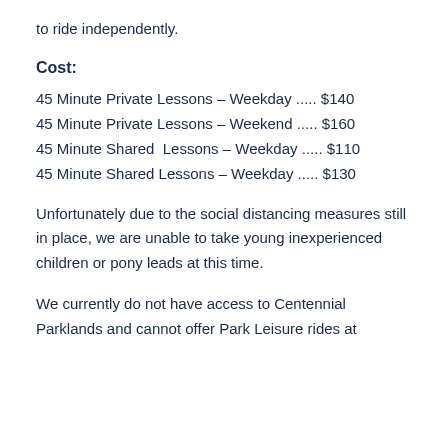to ride independently.
Cost:
45 Minute Private Lessons – Weekday ..... $140
45 Minute Private Lessons – Weekend ..... $160
45 Minute Shared  Lessons – Weekday ..... $110
45 Minute Shared Lessons – Weekday ..... $130
Unfortunately due to the social distancing measures still in place, we are unable to take young inexperienced children or pony leads at this time.
We currently do not have access to Centennial Parklands and cannot offer Park Leisure rides at